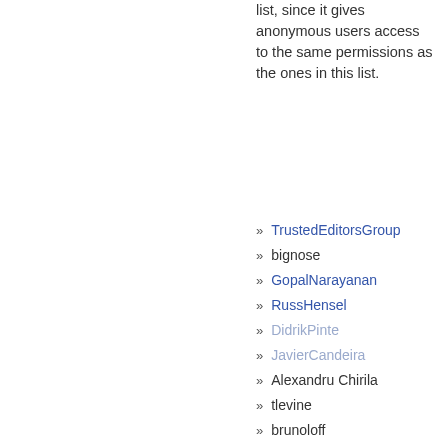list, since it gives anonymous users access to the same permissions as the ones in this list.
TrustedEditorsGroup
bignose
GopalNarayanan
RussHensel
DidrikPinte
JavierCandeira
Alexandru Chirila
tlevine
brunoloff
stetrabby
Paush_M
DaveKuhlman
GavinJackson
danilo.bellini
Giampaolo Rodola